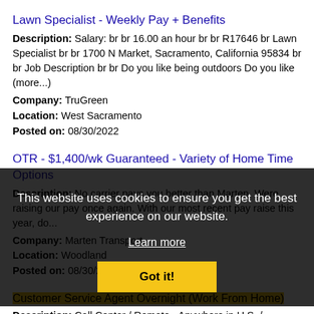Lawn Specialist - Weekly Pay + Benefits
Description: Salary: br br 16.00 an hour br br R17646 br Lawn Specialist br br 1700 N Market, Sacramento, California 95834 br br Job Description br br Do you like being outdoors Do you like (more...)
Company: TruGreen
Location: West Sacramento
Posted on: 08/30/2022
OTR - $1,400/wk Guaranteed - Variety of Home Time Options
Description: No carrier pays you better than Marten. Were raising our pay once again. With our most recent pay raise this year, do...
Company: Marten Transport
Location: Woodland
Posted on: 08/30/20...
[Figure (screenshot): Cookie consent overlay banner with black background, text 'This website uses cookies to ensure you get the best experience on our website.' with 'Learn more' link and 'Got it!' button]
Customer Service Agent Overnight (Work From Home)
Description: Call Center / Remote - Anywhere in U.S. / Competitive pay / Generous PTO / 401k - As
Company: Circles
Location: Woodland